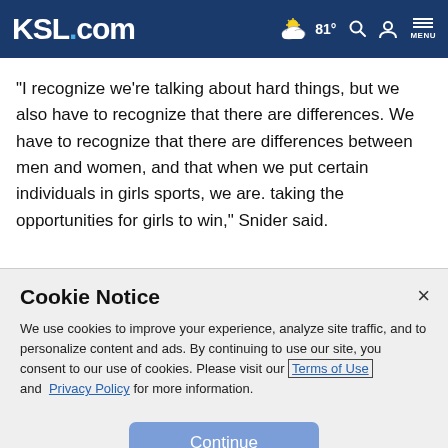KSL.com — 81° weather, search, account, menu
"I recognize we're talking about hard things, but we also have to recognize that there are differences. We have to recognize that there are differences between men and women, and that when we put certain individuals in girls sports, we are. taking the opportunities for girls to win," Snider said.
Cookie Notice
We use cookies to improve your experience, analyze site traffic, and to personalize content and ads. By continuing to use our site, you consent to our use of cookies. Please visit our Terms of Use and Privacy Policy for more information.
Continue